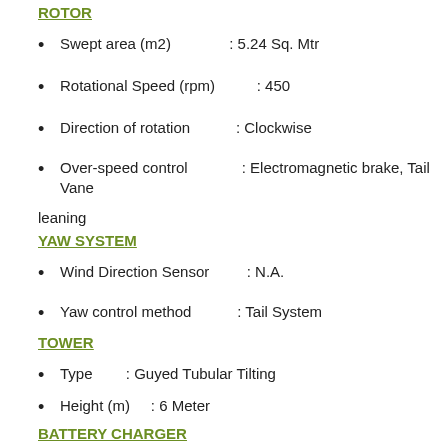ROTOR
Swept area (m2)              : 5.24 Sq. Mtr
Rotational Speed (rpm)       : 450
Direction of rotation        : Clockwise
Over-speed control           : Electromagnetic brake, Tail Vane
leaning
YAW SYSTEM
Wind Direction Sensor        : N.A.
Yaw control method           : Tail System
TOWER
Type          : Guyed Tubular Tilting
Height (m)    : 6 Meter
BATTERY CHARGER
Model : SnW H 1 kW